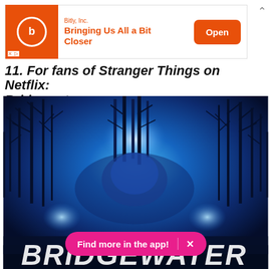[Figure (screenshot): Advertisement banner for Bitly, Inc. with orange icon, 'Bringing Us All a Bit Closer' tagline, and orange 'Open' button]
11. For fans of Stranger Things on Netflix: Bridgewater
[Figure (photo): Bridgewater podcast cover art — dark blue mystical forest scene with glowing blue light and silhouetted trees, with 'BRIDGEWATER' text at bottom in white brushstroke font]
Find more in the app!